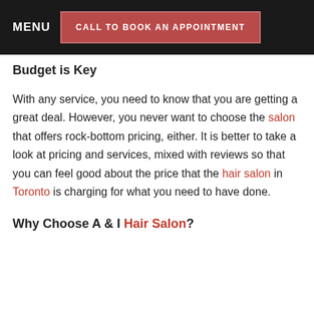MENU   CALL TO BOOK AN APPOINTMENT
Budget is Key
With any service, you need to know that you are getting a great deal. However, you never want to choose the salon that offers rock-bottom pricing, either. It is better to take a look at pricing and services, mixed with reviews so that you can feel good about the price that the hair salon in Toronto is charging for what you need to have done.
Why Choose A & I Hair Salon?